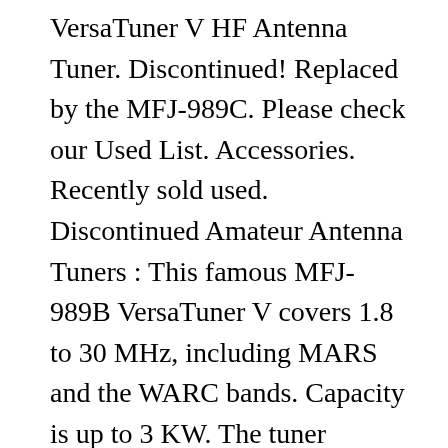VersaTuner V HF Antenna Tuner. Discontinued! Replaced by the MFJ-989C. Please check our Used List. Accessories. Recently sold used. Discontinued Amateur Antenna Tuners : This famous MFJ-989B VersaTuner V covers 1.8 to 30 MHz, including MARS and the WARC bands. Capacity is up to 3 KW. The tuner features two massive transmitting capacitors and a roller inductor with a three digit counter. MFJ Enterprises User Manuals . MFJ Enterprises 8100w World Band Receiver Manual Add to Favourites . MFJ-8100 World Band Receiver 1 MFJ-8100 World Band Receiver Table of Contents For Beginners Page 2 Just a Bit of History Page 2 Back to Today and the Future Page 3 A Simplified Explanation of How it Works Page 3